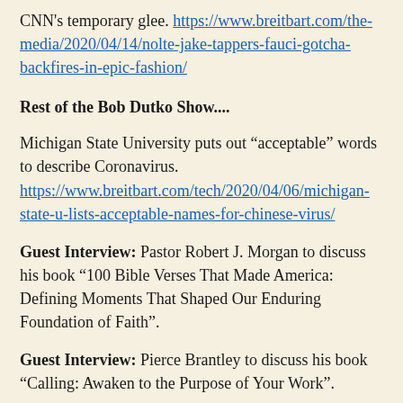CNN's temporary glee. https://www.breitbart.com/the-media/2020/04/14/nolte-jake-tappers-fauci-gotcha-backfires-in-epic-fashion/
Rest of the Bob Dutko Show....
Michigan State University puts out “acceptable” words to describe Coronavirus. https://www.breitbart.com/tech/2020/04/06/michigan-state-u-lists-acceptable-names-for-chinese-virus/
Guest Interview: Pastor Robert J. Morgan to discuss his book “100 Bible Verses That Made America: Defining Moments That Shaped Our Enduring Foundation of Faith”.
Guest Interview: Pierce Brantley to discuss his book “Calling: Awaken to the Purpose of Your Work”.
Other Issues Discussed....